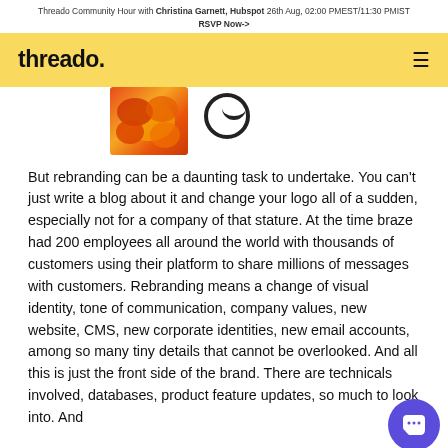Threado Community Hour with Christina Garnett, Hubspot 26th Aug, 02:00 PMEST/11:30 PMIST
RSVP Now->
[Figure (logo): Threado logo on yellow navigation bar with hamburger menu icon]
[Figure (photo): Partial orange flower photo and circular icon with arc shape]
But rebranding can be a daunting task to undertake. You can't just write a blog about it and change your logo all of a sudden, especially not for a company of that stature. At the time braze had 200 employees all around the world with thousands of customers using their platform to share millions of messages with customers. Rebranding means a change of visual identity, tone of communication, company values, new website, CMS, new corporate identities, new email accounts, among so many tiny details that cannot be overlooked. And all this is just the front side of the brand. There are technicals involved, databases, product feature updates, so much to look into. And